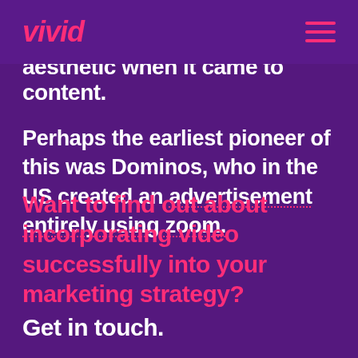vivid
aesthetic when it came to content.
Perhaps the earliest pioneer of this was Dominos, who in the US created an advertisement entirely using zoom.
Want to find out about incorporating video successfully into your marketing strategy? Get in touch.